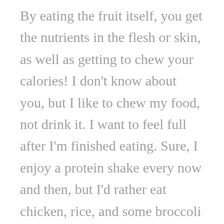By eating the fruit itself, you get the nutrients in the flesh or skin, as well as getting to chew your calories! I don't know about you, but I like to chew my food, not drink it. I want to feel full after I'm finished eating. Sure, I enjoy a protein shake every now and then, but I'd rather eat chicken, rice, and some broccoli instead of drinking a meal.
Instead of regular peanut butter try the natural kind or even almond butter. Instead of white bread, opt for the higher